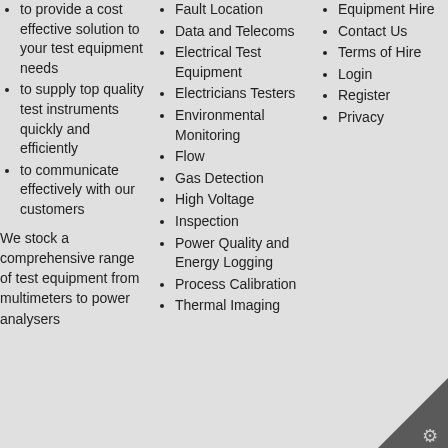to provide a cost effective solution to your test equipment needs
to supply top quality test instruments quickly and efficiently
to communicate effectively with our customers
We stock a comprehensive range of test equipment from multimeters to power analysers
Fault Location
Data and Telecoms
Electrical Test Equipment
Electricians Testers
Environmental Monitoring
Flow
Gas Detection
High Voltage
Inspection
Power Quality and Energy Logging
Process Calibration
Thermal Imaging
Equipment Hire
Contact Us
Terms of Hire
Login
Register
Privacy